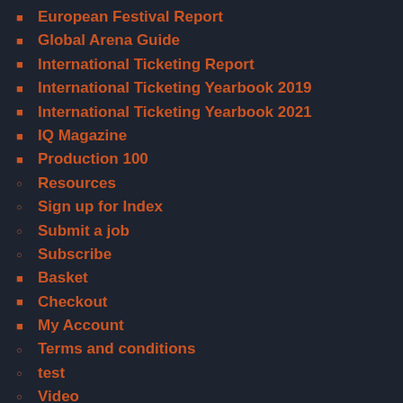European Festival Report
Global Arena Guide
International Ticketing Report
International Ticketing Yearbook 2019
International Ticketing Yearbook 2021
IQ Magazine
Production 100
Resources
Sign up for Index
Submit a job
Subscribe
Basket
Checkout
My Account
Terms and conditions
test
Video
IQ Focus
IQ & The MMF Present: Managing The Crisis
IQ & Wide Days: Laura Marling's Streaming Success
IQ Focus: Beyond Rhetoric… Race in Live Music
IQ Focus: Festival Forum… Here Comes '21
IQ Focus: Festival Forum… The Next St…